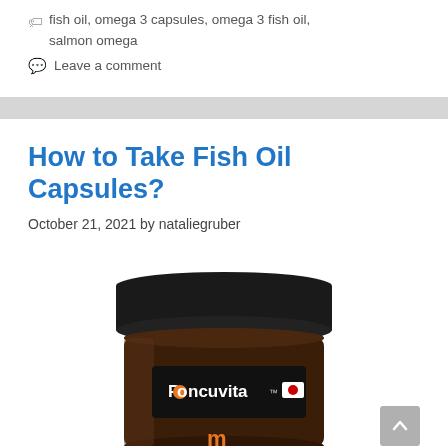fish oil, omega 3 capsules, omega 3 fish oil, salmon omega
Leave a comment
How to Take Fish Oil Capsules?
October 21, 2021 by nataliegruber
[Figure (photo): Dark amber glass supplement bottle with black cap, Roncuvita brand label with Japanese flag icon, partially visible M logo at bottom]